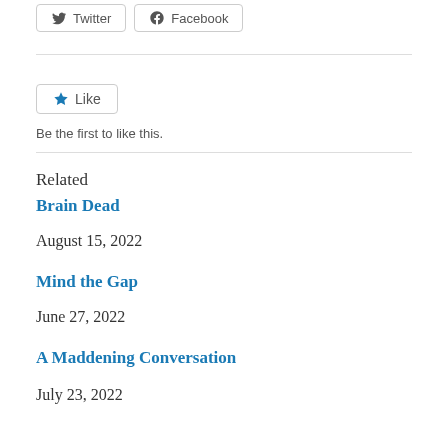[Figure (other): Twitter and Facebook share buttons]
[Figure (other): Like button widget]
Be the first to like this.
Related
Brain Dead
August 15, 2022
Mind the Gap
June 27, 2022
A Maddening Conversation
July 23, 2022